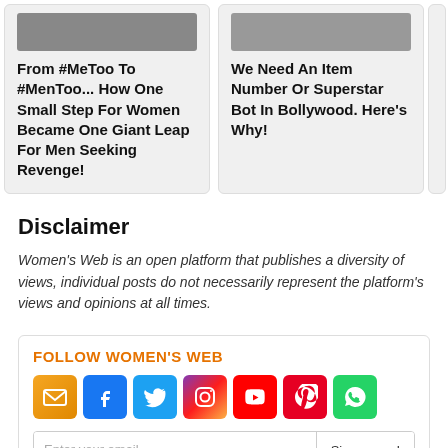[Figure (screenshot): Article card: 'From #MeToo To #MenToo... How One Small Step For Women Became One Giant Leap For Men Seeking Revenge!']
[Figure (screenshot): Article card: 'We Need An Item Number Or Superstar Bot In Bollywood. Here's Why!']
Disclaimer
Women's Web is an open platform that publishes a diversity of views, individual posts do not necessarily represent the platform's views and opinions at all times.
FOLLOW WOMEN'S WEB
[Figure (infographic): Social media icons: email, Facebook, Twitter, Instagram, YouTube, Pinterest, WhatsApp]
Enter your email  Sign me up!